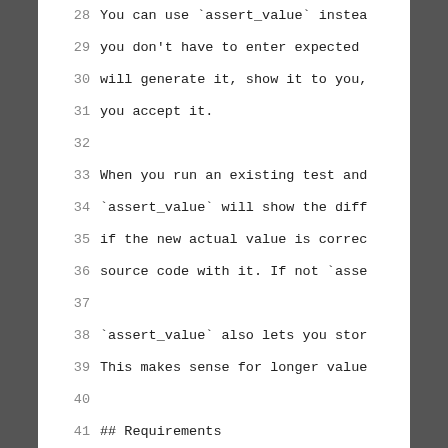28    You can use `assert_value` instea
29    you don't have to enter expected
30    will generate it, show it to you,
31    you accept it.
32
33    When you run an existing test and
34    `assert_value` will show the diff
35    if the new actual value is correc
36    source code with it. If not `asse
37
38    `assert_value` also lets you stor
39    This makes sense for longer value
40
41    ## Requirements
42
43    Elixir ~> 1.6
44
45    ## Installation
46
47    Add this to mix.exs:
48
49    ```elixir